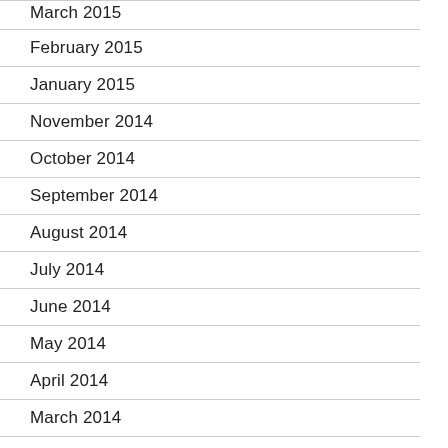March 2015
February 2015
January 2015
November 2014
October 2014
September 2014
August 2014
July 2014
June 2014
May 2014
April 2014
March 2014